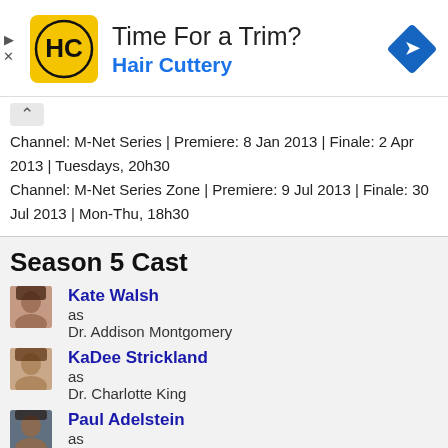[Figure (advertisement): Hair Cuttery ad banner with logo, 'Time For a Trim?' headline, 'Hair Cuttery' subtitle in blue, and a blue diamond navigation icon on the right.]
Channel: M-Net Series | Premiere: 8 Jan 2013 | Finale: 2 Apr 2013 | Tuesdays, 20h30
Channel: M-Net Series Zone | Premiere: 9 Jul 2013 | Finale: 30 Jul 2013 | Mon-Thu, 18h30
Season 5 Cast
Kate Walsh as Dr. Addison Montgomery
KaDee Strickland as Dr. Charlotte King
Paul Adelstein as Dr. Cooper Freedman